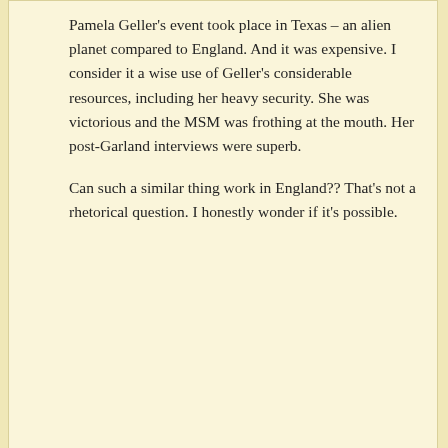Pamela Geller's event took place in Texas – an alien planet compared to England. And it was expensive. I consider it a wise use of Geller's considerable resources, including her heavy security. She was victorious and the MSM was frothing at the mouth. Her post-Garland interviews were superb.
Can such a similar thing work in England?? That's not a rhetorical question. I honestly wonder if it's possible.
[Figure (illustration): Generic user avatar placeholder showing a silhouette of a person in gray]
Michael Warden on July 29, 2015 at 3:58 am said:
We in Britain frequently see – although not mentioned in the Grauniad – hordes of enrichers marching down the streets of what was once a sceptered isle carrying banners that state : "